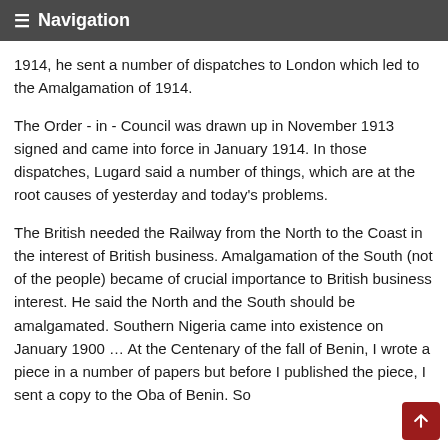≡ Navigation
1914, he sent a number of dispatches to London which led to the Amalgamation of 1914.
The Order - in - Council was drawn up in November 1913 signed and came into force in January 1914. In those dispatches, Lugard said a number of things, which are at the root causes of yesterday and today's problems.
The British needed the Railway from the North to the Coast in the interest of British business. Amalgamation of the South (not of the people) became of crucial importance to British business interest. He said the North and the South should be amalgamated. Southern Nigeria came into existence on January 1900 ... At the Centenary of the fall of Benin, I wrote a piece in a number of papers but before I published the piece, I sent a copy to the Oba of Benin. So